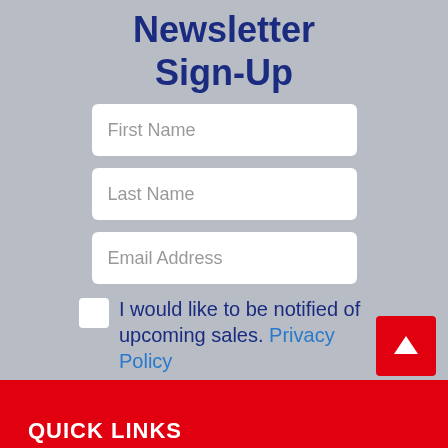Newsletter Sign-Up
First Name
Last Name
Email Address
I would like to be notified of upcoming sales. Privacy Policy
Submit
QUICK LINKS